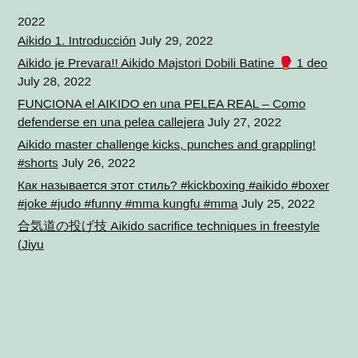2022
Aikido 1. Introducción July 29, 2022
Aikido je Prevara!! Aikido Majstori Dobili Batine 🥊 1 deo July 28, 2022
FUNCIONA el AIKIDO en una PELEA REAL – Como defenderse en una pelea callejera July 27, 2022
Aikido master challenge kicks, punches and grappling! #shorts July 26, 2022
Как называется этот стиль? #kickboxing #aikido #boxer #joke #judo #funny #mma kungfu #mma July 25, 2022
合気道の投げ技 Aikido sacrifice techniques in freestyle (Jiyu